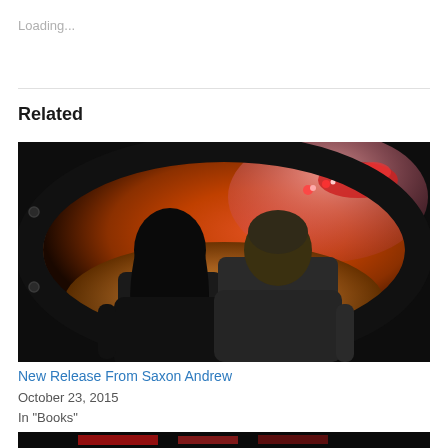Loading...
Related
[Figure (photo): Two figures viewed from behind, a woman with dark hair and a man in a dark t-shirt, looking through a circular portal/window into a space scene with red and orange planets and glowing red UFO-like objects.]
New Release From Saxon Andrew
October 23, 2015
In "Books"
[Figure (photo): Partial image visible at bottom of page, appears to be another book cover with red text.]